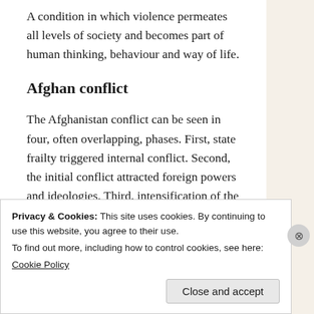A condition in which violence permeates all levels of society and becomes part of human thinking, behaviour and way of life.
Afghan conflict
The Afghanistan conflict can be seen in four, often overlapping, phases. First, state frailty triggered internal conflict. Second, the initial conflict attracted foreign powers and ideologies. Third, intensification of the conflict accelerated institutional breakdown. And then, foreign
Privacy & Cookies: This site uses cookies. By continuing to use this website, you agree to their use.
To find out more, including how to control cookies, see here:
Cookie Policy
Close and accept